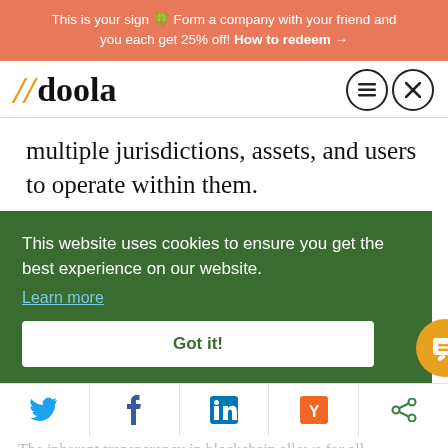This is your sign 🍀 Form a company with your friend and you each get 25% off! How to redeem →
[Figure (logo): doola logo with orange double slash and bold serif doola text, plus hamburger menu and close button icons]
multiple jurisdictions, assets, and users to operate within them.
This website uses cookies to ensure you get the best experience on our website. Learn more Got it!
The inherent transparency in blockchain allows for all